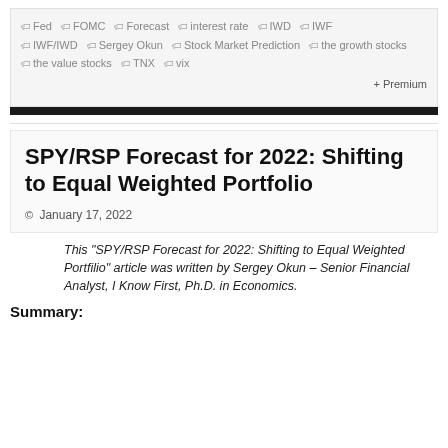Fed  FOMC  Forecast  interest rate  IWD  IWF  IWF/IWD  Sergey Okun  Stock Market Prediction  the growth stocks  the value stocks  TNX  vix
+ Premium
SPY/RSP Forecast for 2022: Shifting to Equal Weighted Portfolio
January 17, 2022
This "SPY/RSP Forecast for 2022: Shifting to Equal Weighted Portfilio" article was written by Sergey Okun – Senior Financial Analyst, I Know First, Ph.D. in Economics.
Summary: